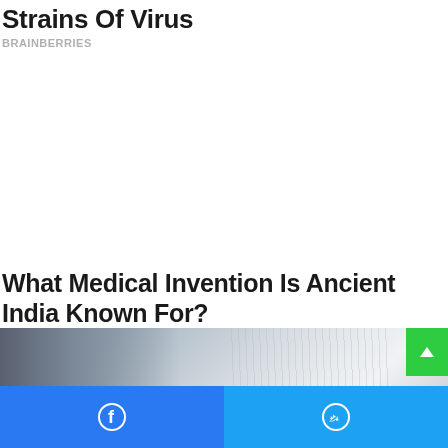Strains Of Virus
BRAINBERRIES
What Medical Invention Is Ancient India Known For?
HERBEAUTY
[Figure (photo): Photo of pages of a book or document, partially visible with a blurred background]
Facebook share button | Twitter share button